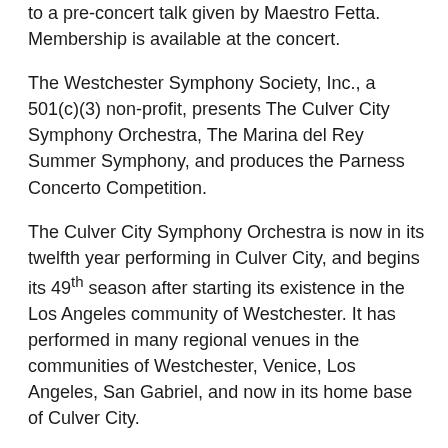to a pre-concert talk given by Maestro Fetta. Membership is available at the concert.
The Westchester Symphony Society, Inc., a 501(c)(3) non-profit, presents The Culver City Symphony Orchestra, The Marina del Rey Summer Symphony, and produces the Parness Concerto Competition.
The Culver City Symphony Orchestra is now in its twelfth year performing in Culver City, and begins its 49th season after starting its existence in the Los Angeles community of Westchester. It has performed in many regional venues in the communities of Westchester, Venice, Los Angeles, San Gabriel, and now in its home base of Culver City.
In addition to presenting the standard orchestra repertoire and concert dramatizations of operas, the orchestra has presented unique concerts devoted to American, Black American, Hispanic, and Women composers. It is the parent orchestra of the Marina del Rey Summer Symphony which performs at